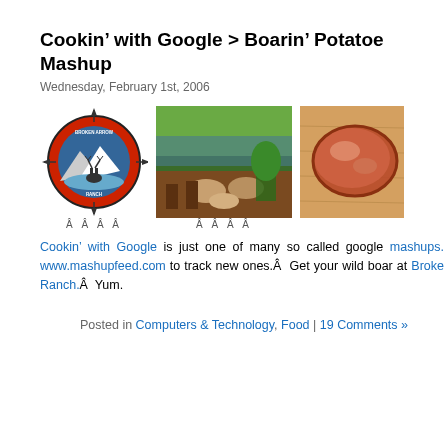Cookin’ with Google > Boarin’ Potatoe Mashup
Wednesday, February 1st, 2006
[Figure (photo): Three images side by side: a Broken Arrow Ranch logo (circular red badge with deer and arrows), an outdoor dining scene on a deck, and a close-up of cooked wild boar meat on a cutting board.]
Cookin’ with Google is just one of many so called google mashups. www.mashupfeed.com to track new ones.Â  Get your wild boar at Broke Ranch.Â  Yum.
Posted in Computers & Technology, Food | 19 Comments »